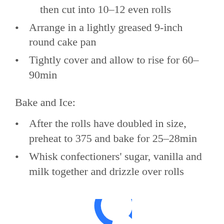then cut into 10–12 even rolls
Arrange in a lightly greased 9-inch round cake pan
Tightly cover and allow to rise for 60–90min
Bake and Ice:
After the rolls have doubled in size, preheat to 375 and bake for 25–28min
Whisk confectioners' sugar, vanilla and milk together and drizzle over rolls
[Figure (logo): Partial blue circular logo at bottom center of page]